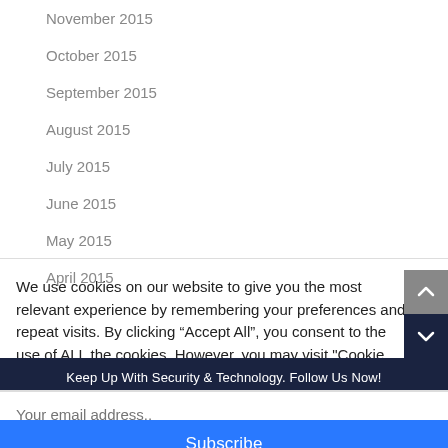November 2015
October 2015
September 2015
August 2015
July 2015
June 2015
May 2015
April 2015
We use cookies on our website to give you the most relevant experience by remembering your preferences and repeat visits. By clicking “Accept All”, you consent to the use of ALL the cookies. However, you may visit "Cookie Settings" to
Keep Up With Security & Technology. Follow Us Now!
Your email address..
Subscribe